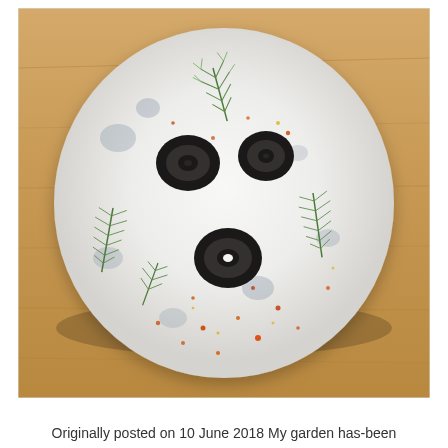[Figure (photo): A round white cheese decorated with black olive rings, fresh green herbs (dill and rosemary sprigs), and sprinkled with orange-red spice, photographed from above on a light wooden cutting board background.]
Originally posted on 10 June 2018 My garden has-been